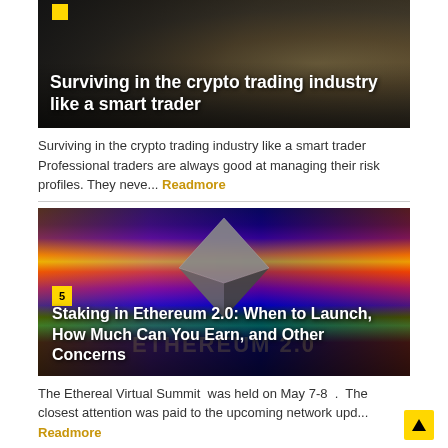[Figure (photo): Crypto coins image with title overlay: Surviving in the crypto trading industry like a smart trader]
Surviving in the crypto trading industry like a smart trader Professional traders are always good at managing their risk profiles. They neve... Readmore
[Figure (photo): Ethereum 2.0 glitch-art image with Ethereum logo pyramid and text overlay: Staking in Ethereum 2.0: When to Launch, How Much Can You Earn, and Other Concerns. Badge number 5 visible.]
The Ethereal Virtual Summit was held on May 7-8 . The closest attention was paid to the upcoming network upd... Readmore